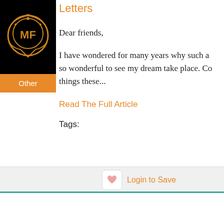[Figure (logo): MF logo on black background with ornamental gold/orange circular badge design]
Other
Letters
Dear friends,
I have wondered for many years why such a so wonderful to see my dream take place. Co things these...
Read The Full Article
Tags:
Login to Save